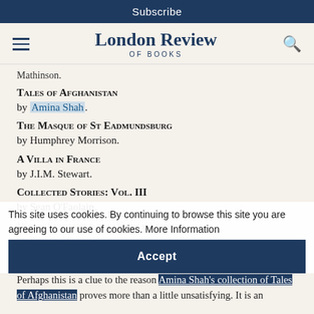Subscribe
London Review of Books
Mathinson.
Tales of Afghanistan by Amina Shah.
The Masque of St Eadmundsburg by Humphrey Morrison.
A Villa in France by J.I.M. Stewart.
Collected Stories: Vol. III by Sean O'Faolain.
Work Suspended and Other Stories by Evelyn Waugh.
This site uses cookies. By continuing to browse this site you are agreeing to our use of cookies. More Information
“… learned apparatus of Le Roy Ladurie’s structural analysis. Perhaps this is a clue to the reason Amina Shah’s collection of Tales of Afghanistan proves more than a little unsatisfying. It is an